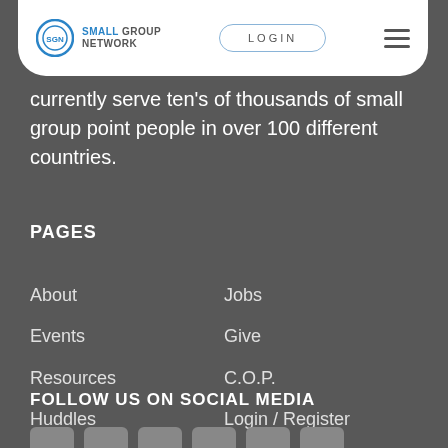SGN | SMALL GROUP NETWORK — LOGIN
currently serve ten's of thousands of small group point people in over 100 different countries.
PAGES
About
Jobs
Events
Give
Resources
C.O.P.
Huddles
Login / Register
Training Courses
Privacy Policy
FOLLOW US ON SOCIAL MEDIA